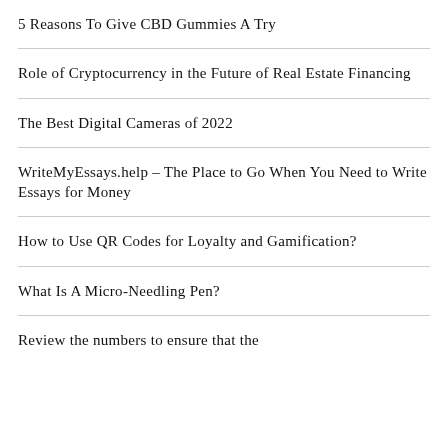5 Reasons To Give CBD Gummies A Try
Role of Cryptocurrency in the Future of Real Estate Financing
The Best Digital Cameras of 2022
WriteMyEssays.help – The Place to Go When You Need to Write Essays for Money
How to Use QR Codes for Loyalty and Gamification?
What Is A Micro-Needling Pen?
Review the numbers to ensure that the